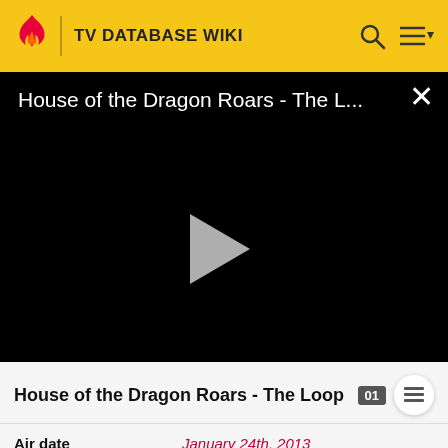TV DATABASE WIKI
[Figure (screenshot): Video player showing 'House of the Dragon Roars - The L...' with a play button on black background and a close (X) button in top-right corner]
House of the Dragon Roars - The Loop
| Air date | January 24th, 2013 |
| Writers | Josh Gad; Jon Lovett |